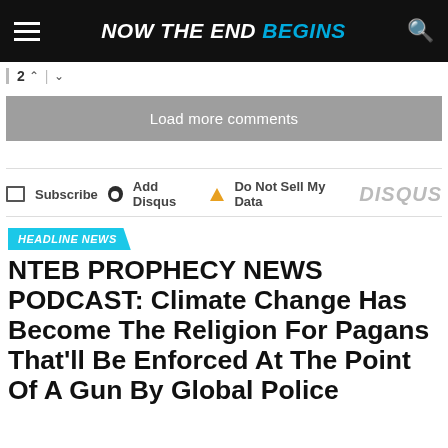NOW THE END BEGINS
2 ∧ | ∨
Load more comments
Subscribe | Add Disqus | Do Not Sell My Data | DISQUS
HEADLINE NEWS
NTEB PROPHECY NEWS PODCAST: Climate Change Has Become The Religion For Pagans That'll Be Enforced At The Point Of A Gun By Global Police